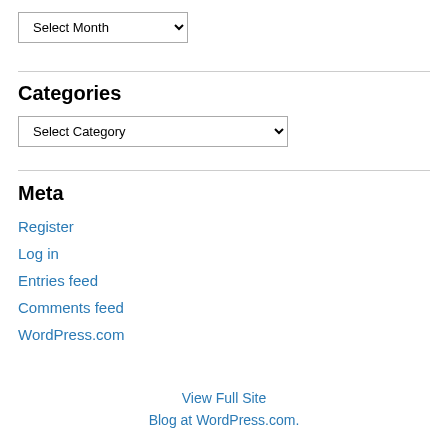Select Month (dropdown)
Categories
Select Category (dropdown)
Meta
Register
Log in
Entries feed
Comments feed
WordPress.com
View Full Site
Blog at WordPress.com.